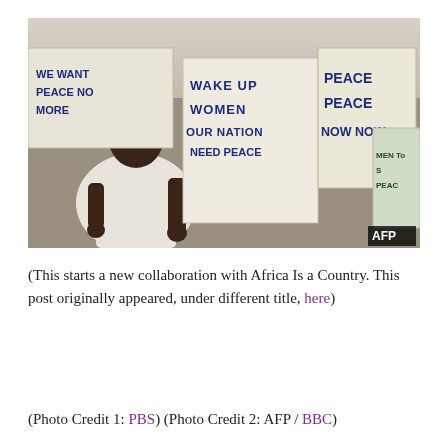[Figure (photo): A woman wearing a white headscarf holds protest signs at a peace demonstration. Signs read 'WAKE UP WOMEN OUR NATION NEED PEACE' and 'PEACE PEACE NOW NOW'. Another sign in the background reads 'WE WANT PEACE NO MORE'. AFP watermark visible in bottom right corner.]
(This starts a new collaboration with Africa Is a Country. This post originally appeared, under different title, here)
(Photo Credit 1: PBS) (Photo Credit 2: AFP / BBC)